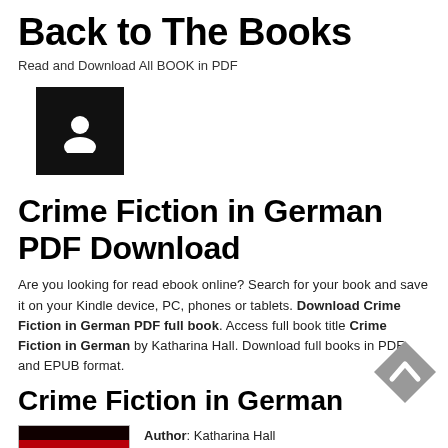Back to The Books
Read and Download All BOOK in PDF
[Figure (illustration): Black square with white person/avatar icon]
Crime Fiction in German PDF Download
Are you looking for read ebook online? Search for your book and save it on your Kindle device, PC, phones or tablets. Download Crime Fiction in German PDF full book. Access full book title Crime Fiction in German by Katharina Hall. Download full books in PDF and EPUB format.
Crime Fiction in German
[Figure (illustration): Book cover with dark background and red stripe]
Author: Katharina Hall
Publisher: University of Wales Press